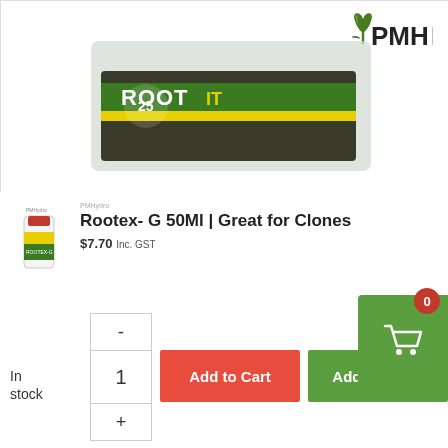[Figure (photo): Product image of Root!T propagation kit with clear plastic tray containing dark growing medium cubes with green and yellow branded label. PMHydro logo in top right corner.]
[Figure (photo): Small thumbnail of Rootex-G 50ml bottle product with red cap, yellow and green label.]
Rootex- G 50Ml | Great for Clones
$7.70 Inc. GST
In stock
-
1
+
Add to Cart
Add to que...
0